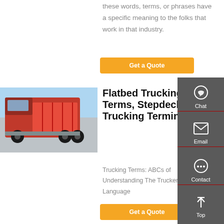these words, terms, or phrases have a specific meaning to the folks that work in that industry.
Get a Quote
[Figure (photo): A red dump truck / heavy cargo truck parked outdoors]
Flatbed Trucking Terms, Stepdeck Trucking Terminology
Trucking Terms: ABCs of Understanding The Trucker Language
Get a Quote